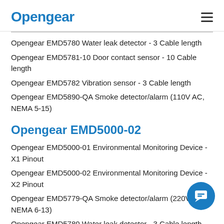Opengear
Opengear EMD5780 Water leak detector - 3 Cable length
Opengear EMD5781-10 Door contact sensor - 10 Cable length
Opengear EMD5782 Vibration sensor - 3 Cable length
Opengear EMD5890-QA Smoke detector/alarm (110V AC, NEMA 5-15)
Opengear EMD5000-02
Opengear EMD5000-01 Environmental Monitoring Device - X1 Pinout
Opengear EMD5000-02 Environmental Monitoring Device - X2 Pinout
Opengear EMD5779-QA Smoke detector/alarm (220V AC, NEMA 6-13)
Opengear EMD5780 Water leak detector - 3 Cable length